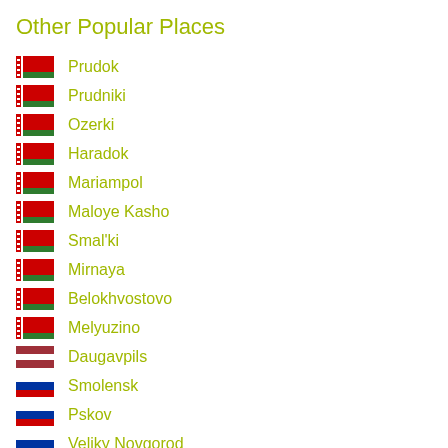Other Popular Places
Prudok
Prudniki
Ozerki
Haradok
Mariampol
Maloye Kasho
Smal'ki
Mirnaya
Belokhvostovo
Melyuzino
Daugavpils
Smolensk
Pskov
Veliky Novgorod
Zaronovo
Zaluch'ye
Zakhody